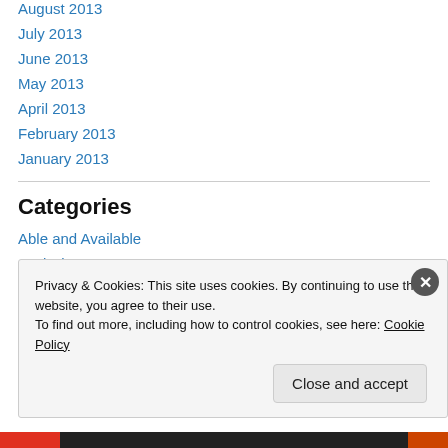August 2013
July 2013
June 2013
May 2013
April 2013
February 2013
January 2013
Categories
Able and Available
analysis
Privacy & Cookies: This site uses cookies. By continuing to use this website, you agree to their use.
To find out more, including how to control cookies, see here: Cookie Policy
Close and accept